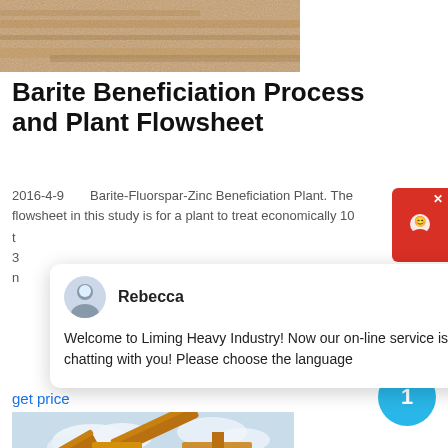[Figure (photo): Aerial or close-up photo of sandy/rocky ground surface, brownish tones]
Barite Beneficiation Process and Plant Flowsheet
2016-4-9   Barite-Fluorspar-Zinc Beneficiation Plant. The flowsheet in this study is for a plant to treat economically 10 t...
[Figure (screenshot): Chat overlay popup from Liming Heavy Industry with avatar of Rebecca. Message: Welcome to Liming Heavy Industry! Now our on-line service is chatting with you! Please choose the language]
get price
[Figure (photo): Industrial mining/crushing machinery - yellow heavy equipment with conveyor belts against a cloudy sky background]